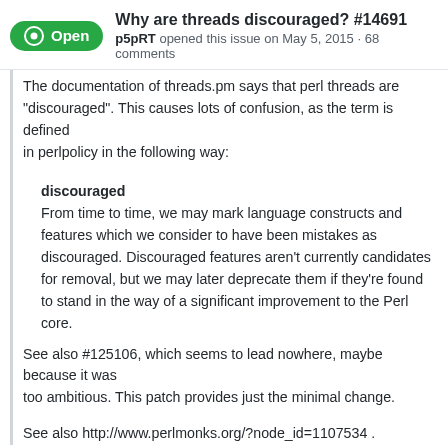Why are threads discouraged? #14691
p5pRT opened this issue on May 5, 2015 · 68 comments
The documentation of threads.pm says that perl threads are "discouraged". This causes lots of confusion, as the term is defined in perlpolicy in the following way:

discouraged
From time to time, we may mark language constructs and features which we consider to have been mistakes as discouraged. Discouraged features aren't currently candidates for removal, but we may later deprecate them if they're found to stand in the way of a significant improvement to the Perl core.

See also #125106, which seems to lead nowhere, maybe because it was too ambitious. This patch provides just the minimal change.

See also http://www.perlmonks.org/?node_id=1107534 .